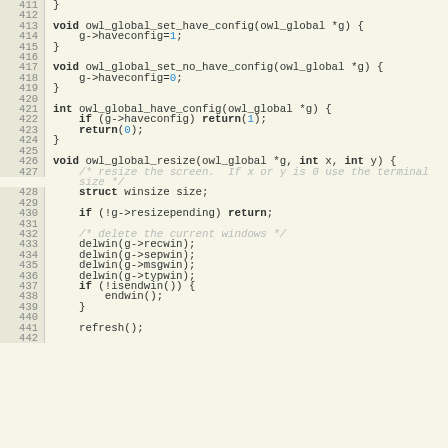[Figure (screenshot): Source code listing in C showing functions owl_global_set_have_config, owl_global_set_no_have_config, owl_global_have_config, and owl_global_resize, with line numbers 411-442 on a beige background.]